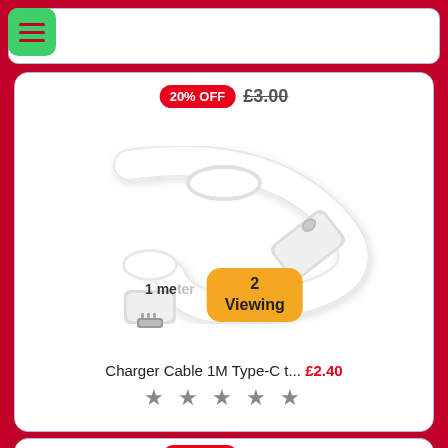[Figure (screenshot): Mobile e-commerce app screenshot showing menu icon (hamburger) in green rounded square, a product listing card for a USB-C charger cable with 20% OFF badge showing original price £3.00 struck through, product image of white USB-C cable, '2 Viewing' orange badge, '1 meter' label, product title 'Charger Cable 1M Type-C t...' with price £2.40 in red, five star rating, and partial second card showing 20% OFF £2.00 with partial product image]
20% OFF £3.00
1 meter
2
Viewing
Charger Cable 1M Type-C t... £2.40
★ ★ ★ ★ ★
20% OFF £2.00